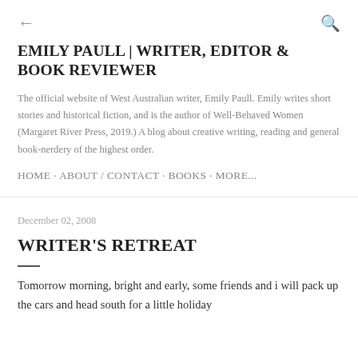← [back arrow]   [search icon]
EMILY PAULL | WRITER, EDITOR & BOOK REVIEWER
The official website of West Australian writer, Emily Paull. Emily writes short stories and historical fiction, and is the author of Well-Behaved Women (Margaret River Press, 2019.) A blog about creative writing, reading and general book-nerdery of the highest order.
HOME · ABOUT / CONTACT · BOOKS · MORE...
December 02, 2008
WRITER'S RETREAT
Tomorrow morning, bright and early, some friends and i will pack up the cars and head south for a little holiday